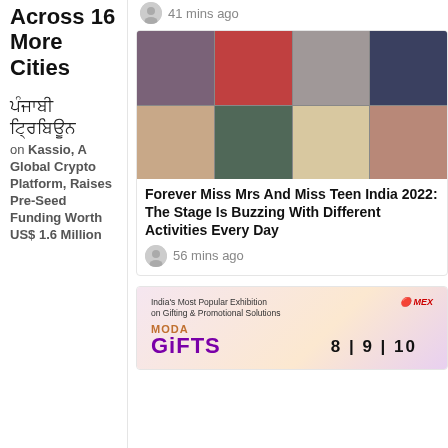Across 16 More Cities
ਪੰਜਾਬੀ ਟ੍ਰਿਬਿਊਨ on Kassio, A Global Crypto Platform, Raises Pre-Seed Funding Worth US$ 1.6 Million
41 mins ago
[Figure (photo): Grid of 9 photos showing pageant contestants wearing crowns and sashes]
Forever Miss Mrs And Miss Teen India 2022: The Stage Is Buzzing With Different Activities Every Day
56 mins ago
[Figure (infographic): MODA Gifts exhibition advertisement banner. Text: India's Most Popular Exhibition on Gifting & Promotional Solutions. MEX logo. MODA Presents GIFTS 8|9|10]